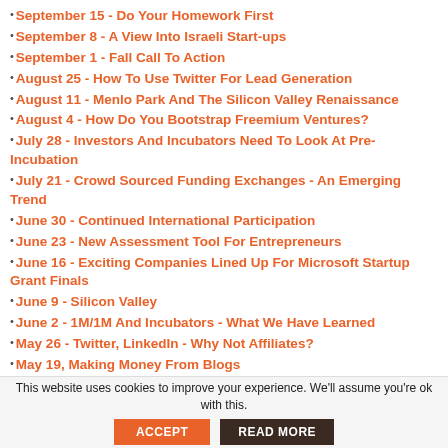September 15 - Do Your Homework First
September 8 - A View Into Israeli Start-ups
September 1 - Fall Call To Action
August 25 - How To Use Twitter For Lead Generation
August 11 - Menlo Park And The Silicon Valley Renaissance
August 4 - How Do You Bootstrap Freemium Ventures?
July 28 - Investors And Incubators Need To Look At Pre-Incubation
July 21 - Crowd Sourced Funding Exchanges - An Emerging Trend
June 30 - Continued International Participation
June 23 - New Assessment Tool For Entrepreneurs
June 16 - Exciting Companies Lined Up For Microsoft Startup Grant Finals
June 9 - Silicon Valley
June 2 - 1M/1M And Incubators - What We Have Learned
May 26 - Twitter, LinkedIn - Why Not Affiliates?
May 19, Making Money From Blogs
May 12 - Two Really Cool Companies
This website uses cookies to improve your experience. We'll assume you're ok with this.
ACCEPT
READ MORE